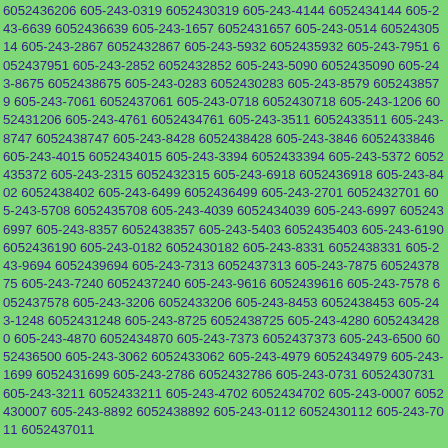6052436206 605-243-0319 6052430319 605-243-4144 6052434144 605-243-6639 6052436639 605-243-1657 6052431657 605-243-0514 6052430514 605-243-2867 6052432867 605-243-5932 6052435932 605-243-7951 6052437951 605-243-2852 6052432852 605-243-5090 6052435090 605-243-8675 6052438675 605-243-0283 6052430283 605-243-8579 6052438579 605-243-7061 6052437061 605-243-0718 6052430718 605-243-1206 6052431206 605-243-4761 6052434761 605-243-3511 6052433511 605-243-8747 6052438747 605-243-8428 6052438428 605-243-3846 6052433846 605-243-4015 6052434015 605-243-3394 6052433394 605-243-5372 6052435372 605-243-2315 6052432315 605-243-6918 6052436918 605-243-8402 6052438402 605-243-6499 6052436499 605-243-2701 6052432701 605-243-5708 6052435708 605-243-4039 6052434039 605-243-6997 6052436997 605-243-8357 6052438357 605-243-5403 6052435403 605-243-6190 6052436190 605-243-0182 6052430182 605-243-8331 6052438331 605-243-9694 6052439694 605-243-7313 6052437313 605-243-7875 6052437875 605-243-7240 6052437240 605-243-9616 6052439616 605-243-7578 6052437578 605-243-3206 6052433206 605-243-8453 6052438453 605-243-1248 6052431248 605-243-8725 6052438725 605-243-4280 6052434280 605-243-4870 6052434870 605-243-7373 6052437373 605-243-6500 6052436500 605-243-3062 6052433062 605-243-4979 6052434979 605-243-1699 6052431699 605-243-2786 6052432786 605-243-0731 6052430731 605-243-3211 6052433211 605-243-4702 6052434702 605-243-0007 6052430007 605-243-8892 6052438892 605-243-0112 6052430112 605-243-7011 6052437011